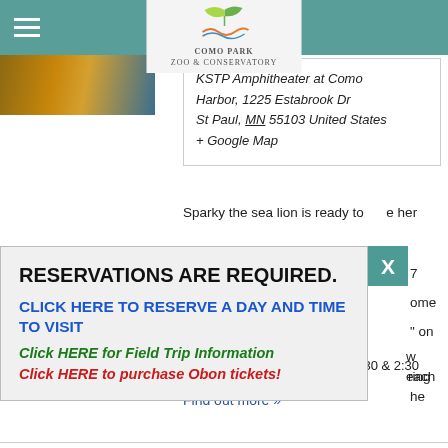Como Park Zoo & Conservatory
[Figure (logo): Como Park Zoo & Conservatory logo with stylized bird/plant graphic]
[Figure (photo): Partial photo strip showing colorful animal/nature scene]
KSTP Amphitheater at Como Harbor, 1225 Estabrook Dr St Paul, MN 55103 United States + Google Map
Sparky the sea lion is ready to make her
RESERVATIONS ARE REQUIRED.
CLICK HERE TO RESERVE A DAY AND TIME TO VISIT
Click HERE for Field Trip Information
Click HERE to purchase Obon tickets!
KSTP Amphitheater daily at 11:30 & 2:30
Find out more »